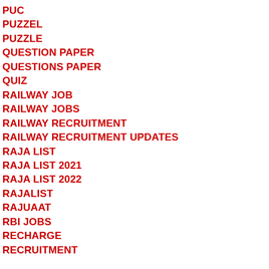PUC
PUZZEL
PUZZLE
QUESTION PAPER
QUESTIONS PAPER
QUIZ
RAILWAY JOB
RAILWAY JOBS
RAILWAY RECRUITMENT
RAILWAY RECRUITMENT UPDATES
RAJA LIST
RAJA LIST 2021
RAJA LIST 2022
RAJALIST
RAJUAAT
RBI JOBS
RECHARGE
RECRUITMENT